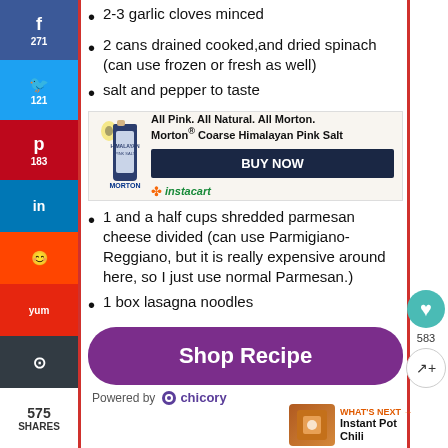2-3 garlic cloves minced
2 cans drained cooked,and dried spinach (can use frozen or fresh as well)
salt and pepper to taste
[Figure (infographic): Morton Salt advertisement showing product bottle, tagline 'All Pink. All Natural. All Morton. Morton Coarse Himalayan Pink Salt', BUY NOW button, and Instacart logo]
1 and a half cups shredded parmesan cheese divided (can use Parmigiano-Reggiano, but it is really expensive around here, so I just use normal Parmesan.)
1 box lasagna noodles
[Figure (infographic): Shop Recipe button powered by Chicory, purple rounded rectangle button with white text]
[Figure (infographic): What's Next arrow with Instant Pot Chili thumbnail and text]